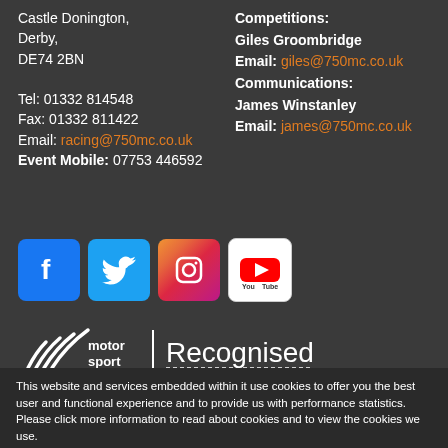Castle Donington,
Derby,
DE74 2BN

Tel: 01332 814548
Fax: 01332 811422
Email: racing@750mc.co.uk
Event Mobile: 07753 446592
Competitions:
Giles Groombridge
Email: giles@750mc.co.uk
Communications:
James Winstanley
Email: james@750mc.co.uk
[Figure (logo): Social media icons row: Facebook (blue), Twitter (blue), Instagram (gradient), YouTube (white)]
[Figure (logo): Motorsport UK Recognised club logo]
This website and services embedded within it use cookies to offer you the best user and functional experience and to provide us with performance statistics. Please click more information to read about cookies and to view the cookies we use.
More information
Block cookies
ACCEPT + CLOSE